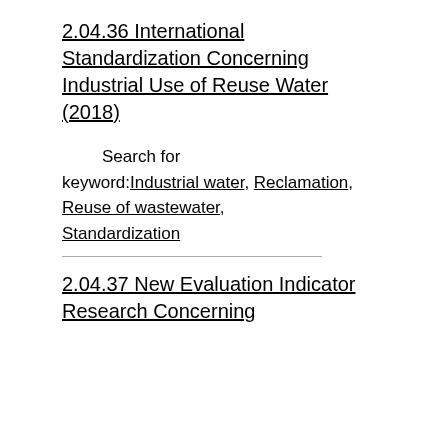2.04.36 International Standardization Concerning Industrial Use of Reuse Water (2018)
Search for keyword: Industrial water, Reclamation, Reuse of wastewater, Standardization
2.04.37 New Evaluation Indicator Research Concerning